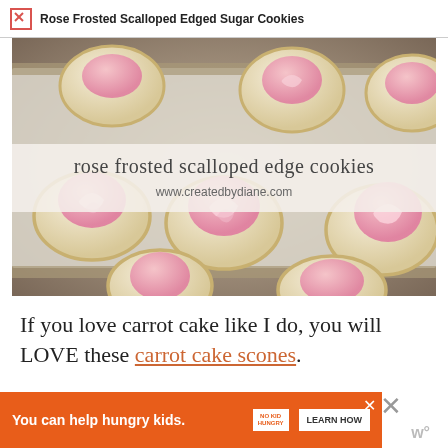Rose Frosted Scalloped Edged Sugar Cookies
[Figure (photo): Baking tray with round scalloped-edge sugar cookies topped with pink rose-swirl frosting on parchment paper, with text overlay reading 'rose frosted scalloped edge cookies' and 'www.createdbydiane.com']
If you love carrot cake like I do, you will LOVE these carrot cake scones.
And they are both delicious of course...
[Figure (other): Advertisement banner: orange background with text 'You can help hungry kids.' No Kid Hungry logo and 'LEARN HOW' button]